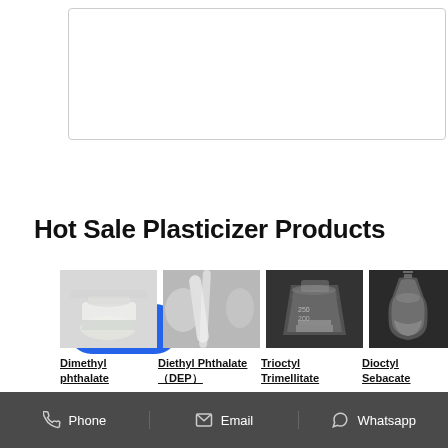[Figure (screenshot): Text area input box for message entry]
Send Message
Hot Sale Plasticizer Products
[Figure (photo): Dimethyl phthalate - glass with clear liquid]
[Figure (photo): Diethyl Phthalate (DEP) - hand stretching clear plastic film]
[Figure (photo): Trioctyl Trimellitate - beaker with clear liquid on dark background]
[Figure (photo): Dioctyl Sebacate - flask with clear liquid on dark background]
Dimethyl phthalate
Diethyl Phthalate（DEP）
Trioctyl Trimellitate
Dioctyl Sebacate
Phone   Email   Whatsapp